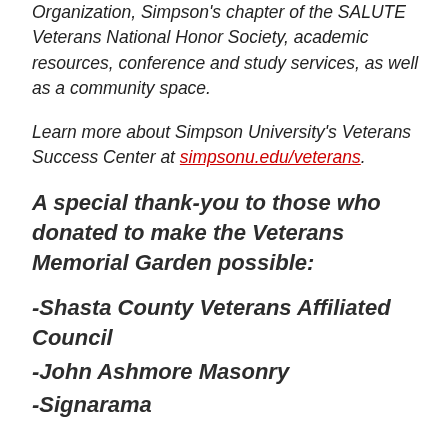Organization, Simpson's chapter of the SALUTE Veterans National Honor Society, academic resources, conference and study services, as well as a community space.
Learn more about Simpson University's Veterans Success Center at simpsonu.edu/veterans.
A special thank-you to those who donated to make the Veterans Memorial Garden possible:
-Shasta County Veterans Affiliated Council
-John Ashmore Masonry
-Signarama